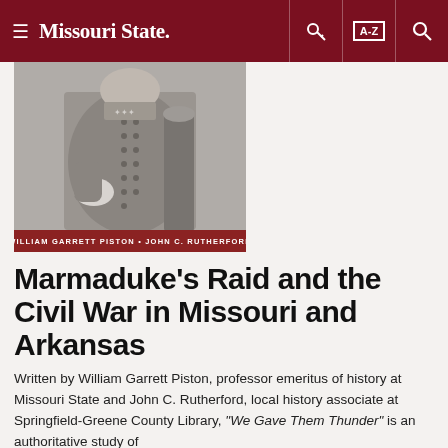≡ Missouri State. [key icon] [A-Z] [search icon]
[Figure (photo): Black and white photograph of a Civil War-era Confederate officer in uniform, with authors' names 'WILLIAM GARRETT PISTON • JOHN C. RUTHERFORD' on a dark red bar at the bottom of the image.]
Marmaduke's Raid and the Civil War in Missouri and Arkansas
Written by William Garrett Piston, professor emeritus of history at Missouri State and John C. Rutherford, local history associate at Springfield-Greene County Library, "We Gave Them Thunder" is an authoritative study of